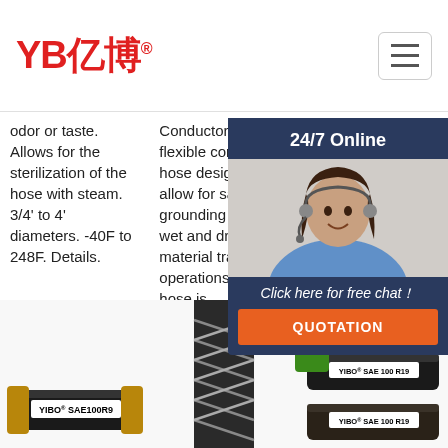[Figure (logo): YB亿博 logo in red text with registered trademark symbol]
odor or taste. Allows for the sterilization of the hose with steam. 3/4' to 4' diameters. -40F to 248F. Details.
Conductor* A flexible conductive hose designed to allow for safe grounding during wet and dry material transfer operations. This hose is
1 to 4 diameters. -40F to 212F. Sizes 6 and machine you the pric ava
[Figure (photo): Customer service representative with headset - 24/7 Online chat popup with orange QUOTATION button]
Get Price
Get Price
G
[Figure (photo): YIBO SAE100R9 hydraulic hose product image]
[Figure (photo): Cross-section or side view of hydraulic hose]
[Figure (photo): YIBO SAE 100 R19 hydraulic hose product with TOP branding and another YIBO SAE 100 R19 hose below]